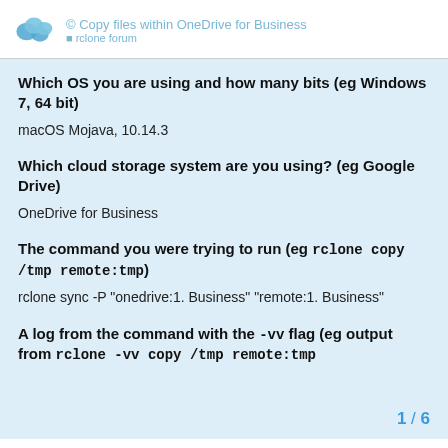Copy files within OneDrive for Business
Which OS you are using and how many bits (eg Windows 7, 64 bit)
macOS Mojava, 10.14.3
Which cloud storage system are you using? (eg Google Drive)
OneDrive for Business
The command you were trying to run (eg rclone copy /tmp remote:tmp)
rclone sync -P "onedrive:1. Business" "remote:1. Business"
A log from the command with the -vv flag (eg output from rclone -vv copy /tmp remote:tmp
1 / 6